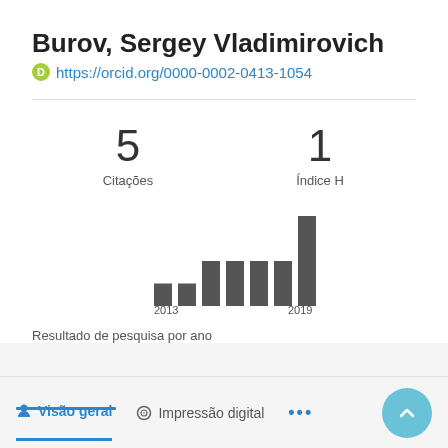Burov, Sergey Vladimirovich
https://orcid.org/0000-0002-0413-1054
5 Citações
1 Índice H
[Figure (bar-chart): Resultado de pesquisa por ano]
Resultado de pesquisa por ano
Visão geral  Impressão digital  •••